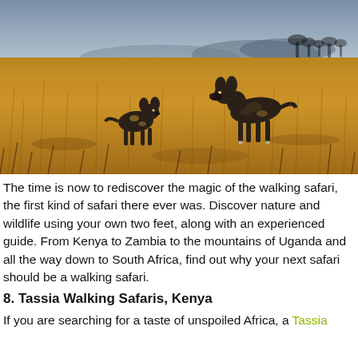[Figure (photo): Two African wild dogs standing in tall golden savanna grassland, with mountains and trees visible in the hazy background. The scene is wide and open, evoking the African wilderness.]
The time is now to rediscover the magic of the walking safari, the first kind of safari there ever was. Discover nature and wildlife using your own two feet, along with an experienced guide. From Kenya to Zambia to the mountains of Uganda and all the way down to South Africa, find out why your next safari should be a walking safari.
8. Tassia Walking Safaris, Kenya
If you are searching for a taste of unspoiled Africa, a Tassia